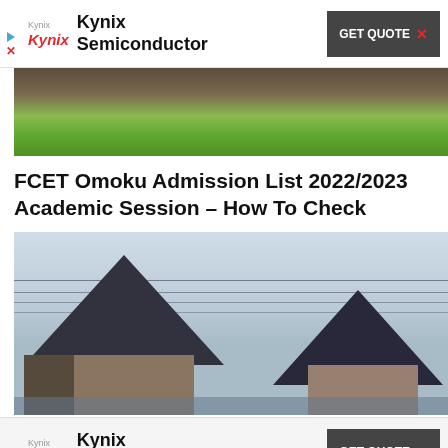[Figure (other): Kynix Semiconductor advertisement banner with logo, company name, and GET QUOTE button]
[Figure (photo): Outdoor photo showing grass and building exterior, partially cropped]
FCET Omoku Admission List 2022/2023 Academic Session – How To Check
[Figure (photo): Photo of flooded buildings with dark rooftops and power lines against overcast sky]
[Figure (other): Kynix Semiconductor advertisement banner with logo, company name, and GET QUOTE button]
AKSCOE Admission List 2022/2023 Academic